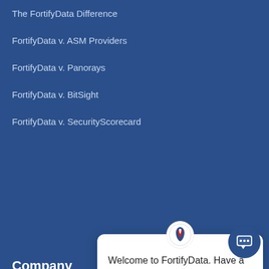The FortifyData Difference
FortifyData v. ASM Providers
FortifyData v. Panorays
FortifyData v. BitSight
FortifyData v. SecurityScorecard
Company
We use cookies on our w... relevant experience by re... repeat visits. By clicking '... use of ALL the cookies. h... Settings" to provide a controlled consent.
Welcome to FortifyData. Have a question about our automated cyber risk management platform for business? Please ask.